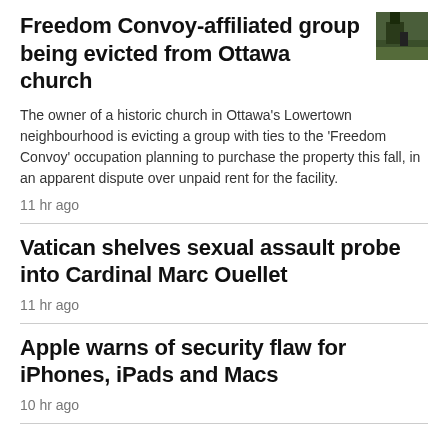Freedom Convoy-affiliated group being evicted from Ottawa church
The owner of a historic church in Ottawa's Lowertown neighbourhood is evicting a group with ties to the 'Freedom Convoy' occupation planning to purchase the property this fall, in an apparent dispute over unpaid rent for the facility.
11 hr ago
[Figure (photo): Small thumbnail image of a building or outdoor scene with green/dark tones]
Vatican shelves sexual assault probe into Cardinal Marc Ouellet
11 hr ago
Apple warns of security flaw for iPhones, iPads and Macs
10 hr ago